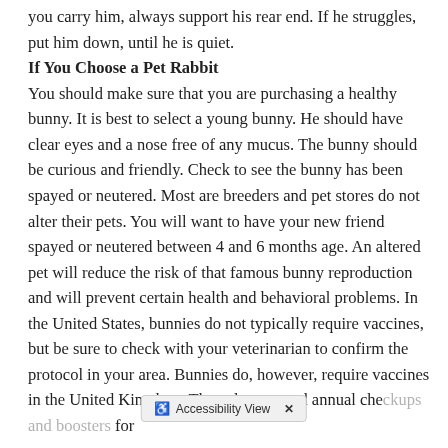you carry him, always support his rear end. If he struggles, put him down, until he is quiet.
If You Choose a Pet Rabbit
You should make sure that you are purchasing a healthy bunny. It is best to select a young bunny. He should have clear eyes and a nose free of any mucus. The bunny should be curious and friendly. Check to see the bunny has been spayed or neutered. Most are breeders and pet stores do not alter their pets. You will want to have your new friend spayed or neutered between 4 and 6 months age. An altered pet will reduce the risk of that famous bunny reproduction and will prevent certain health and behavioral problems. In the United States, bunnies do not typically require vaccines, but be sure to check with your veterinarian to confirm the protocol in your area. Bunnies do, however, require vaccines in the United Kingdom. They always need annual che[…]s for